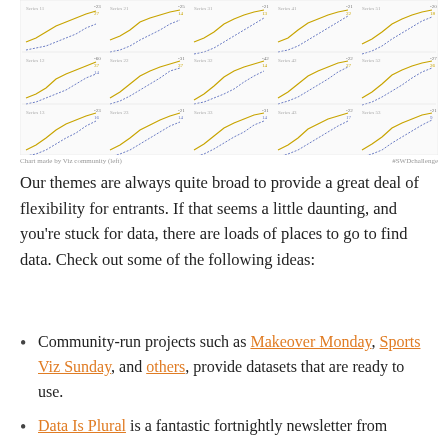[Figure (continuous-plot): Grid of 15 small line charts (3 rows x 5 columns) showing paired trend lines (blue and orange/gold) labeled with values like 27, 22, 25, 21, 20, 60, 37, 14, 22, 27, 20, 25, 22, 22, 21, 14, 17, 14, 13, 14, etc. Each small chart is labeled 'Series 1', 'Series 2', etc.]
Chart made by Viz community (left) | #SWDchallenge (right)
Our themes are always quite broad to provide a great deal of flexibility for entrants. If that seems a little daunting, and you’re stuck for data, there are loads of places to go to find data. Check out some of the following ideas:
Community-run projects such as Makeover Monday, Sports Viz Sunday, and others, provide datasets that are ready to use.
Data Is Plural is a fantastic fortnightly newsletter from...